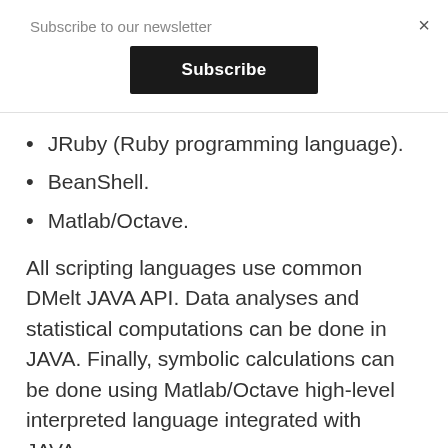Subscribe to our newsletter
Subscribe
×
JRuby (Ruby programming language).
BeanShell.
Matlab/Octave.
All scripting languages use common DMelt JAVA API. Data analyses and statistical computations can be done in JAVA. Finally, symbolic calculations can be done using Matlab/Octave high-level interpreted language integrated with JAVA.